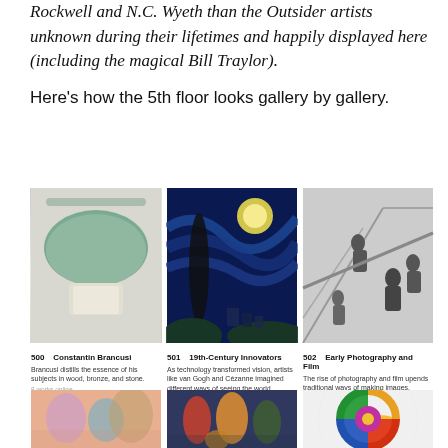Rockwell and N.C. Wyeth than the Outsider artists unknown during their lifetimes and happily displayed here (including the magical Bill Traylor).
Here's how the 5th floor looks gallery by gallery.
[Figure (photo): Three gallery images side by side: a Brancusi sculpture (marble dish on pedestal), Van Gogh's Starry Night painting, and a black-and-white photograph of people on stairs]
500   Constantin Brancusi
Brancusi distills the essence of his subjects in wood, bronze, and stone.
8 works online
501   19th-Century Innovators
As technology transformed vision, artists like van Gogh and Cézanne imagined different ways of seeing the world.
28 works online
502   Early Photography and Film
The rise of photography and film upends traditional ways of making images.
44 works online
[Figure (photo): Three gallery images side by side: a Picasso-style painting with figures, an Expressionist street scene painting, and a Delaunay circular colorful abstract painting]